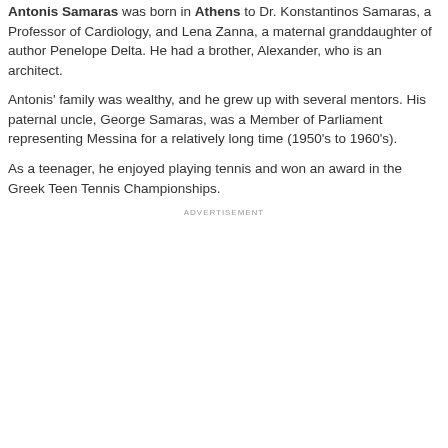Antonis Samaras was born in Athens to Dr. Konstantinos Samaras, a Professor of Cardiology, and Lena Zanna, a maternal granddaughter of author Penelope Delta. He had a brother, Alexander, who is an architect.
Antonis' family was wealthy, and he grew up with several mentors. His paternal uncle, George Samaras, was a Member of Parliament representing Messina for a relatively long time (1950's to 1960's).
As a teenager, he enjoyed playing tennis and won an award in the Greek Teen Tennis Championships.
ADVERTISEMENT